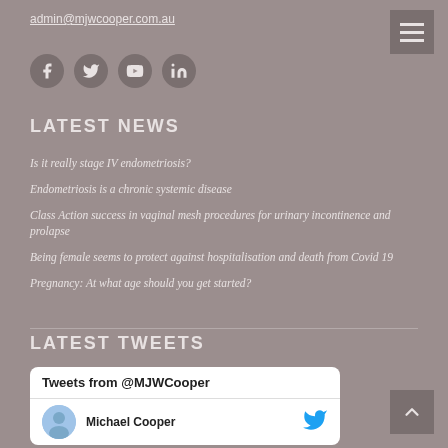admin@mjwcooper.com.au
[Figure (other): Social media icons row: Facebook, Twitter, YouTube, LinkedIn circular buttons]
LATEST NEWS
Is it really stage IV endometriosis?
Endometriosis is a chronic systemic disease
Class Action success in vaginal mesh procedures for urinary incontinence and prolapse
Being female seems to protect against hospitalisation and death from Covid 19
Pregnancy: At what age should you get started?
LATEST TWEETS
[Figure (screenshot): Tweets from @MJWCooper widget with Michael Cooper author row and Twitter bird icon]